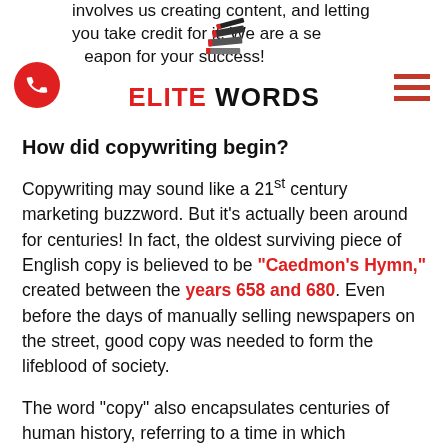involves us creating content, and letting you take credit for it. We are a secret weapon for your success! ELITE WORDS
How did copywriting begin?
Copywriting may sound like a 21st century marketing buzzword. But it’s actually been around for centuries! In fact, the oldest surviving piece of English copy is believed to be “Caedmon’s Hymn,” created between the years 658 and 680. Even before the days of manually selling newspapers on the street, good copy was needed to form the lifeblood of society.
The word “copy” also encapsulates centuries of human history, referring to a time in which information was hand copied (e.g. Hebrews recording the ten commandments on parchment). However, the meaning we ascribe to the modern-day